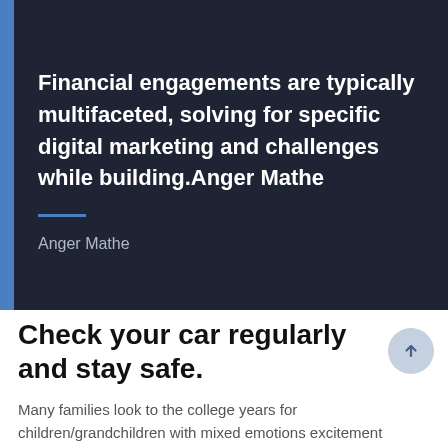Financial engagements are typically multifaceted, solving for specific digital marketing and challenges while building.Anger Mathe
Anger Mathe
Check your car regularly and stay safe.
Many families look to the college years for children/grandchildren with mixed emotions excitement